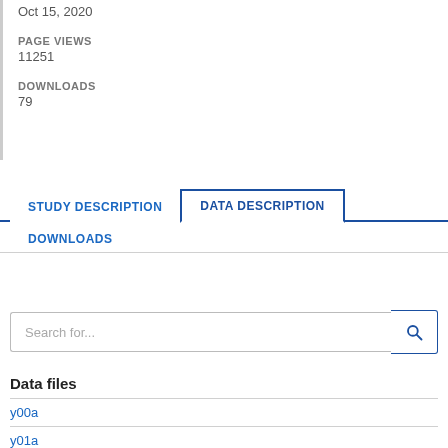Oct 15, 2020
PAGE VIEWS
11251
DOWNLOADS
79
STUDY DESCRIPTION
DATA DESCRIPTION
DOWNLOADS
Search for...
Data files
y00a
y01a
y01b